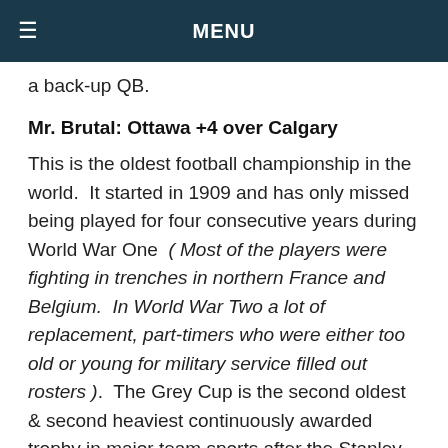MENU
a back-up QB.
Mr. Brutal: Ottawa +4 over Calgary
This is the oldest football championship in the world.  It started in 1909 and has only missed being played for four consecutive years during World War One  ( Most of the players were fighting in trenches in northern France and Belgium.  In World War Two a lot of replacement, part-timers who were either too old or young for military service filled out rosters ).  The Grey Cup is the second oldest & second heaviest continuously awarded trophy in major team sports after the Stanley Cup.
This is Calgary's fourth Championship game in the last six years.  It is also their third appearance in a row, none of which they have won despite being a